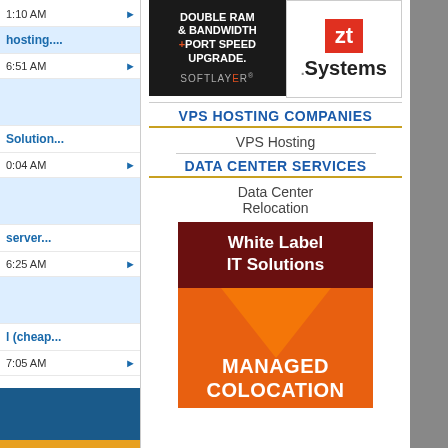[Figure (illustration): Softlayer advertisement banner: dark background, text 'DOUBLE RAM & BANDWIDTH + PORT SPEED UPGRADE.' and Softlayer logo]
[Figure (logo): ZT Systems logo: red square with 'zt' in white, and 'Systems' text below]
VPS HOSTING COMPANIES
VPS Hosting
DATA CENTER SERVICES
Data Center Relocation
[Figure (illustration): White Label IT Solutions and Managed Colocation advertisement banner with dark red and orange background]
1:10 AM
hosting....
6:51 AM
Solution...
0:04 AM
server...
6:25 AM
l (cheap...
7:05 AM